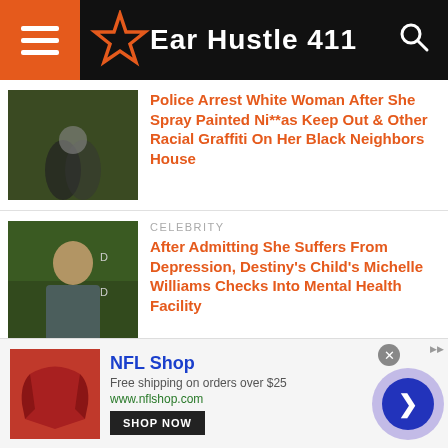Ear Hustle 411
Police Arrest White Woman After She Spray Painted Ni**as Keep Out & Other Racial Graffiti On Her Black Neighbors House
CELEBRITY
After Admitting She Suffers From Depression, Destiny's Child's Michelle Williams Checks Into Mental Health Facility
NEWS
Daycare Worker Cries In Court & Gets Probation After Attempting To Hang
[Figure (other): NFL Shop advertisement banner with red jersey image, Shop Now button, and navigation arrow]